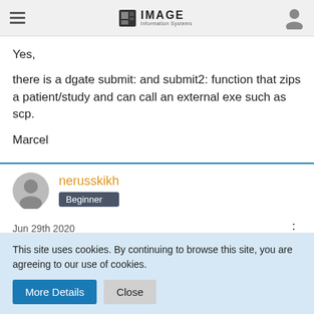IMAGE Information Systems
Yes,
there is a dgate submit: and submit2: function that zips a patient/study and can call an external exe such as scp.
Marcel
nerusskikh — Beginner
Jun 29th 2020
This site uses cookies. By continuing to browse this site, you are agreeing to our use of cookies.